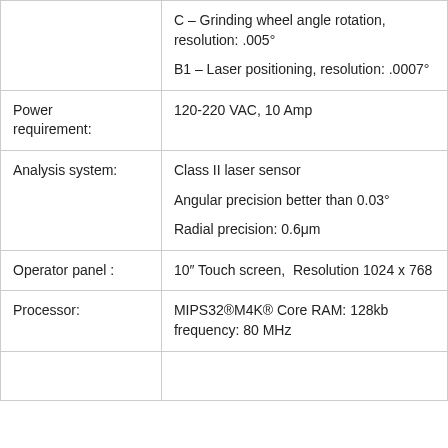|  | C – Grinding wheel angle rotation, resolution: .005°

B1 – Laser positioning, resolution: .0007° |
| Power requirement: | 120-220 VAC, 10 Amp |
| Analysis system: | Class II laser sensor

Angular precision better than 0.03°

Radial precision: 0.6μm |
| Operator panel : | 10″ Touch screen,  Resolution 1024 x 768 |
| Processor: | MIPS32®M4K® Core RAM: 128kb frequency: 80 MHz |
|  |  |